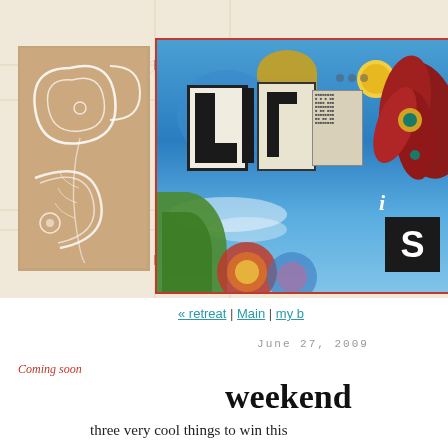[Figure (illustration): Blog header banner with collage artwork. Left side shows tan/kraft paper panel with white decorative swirl and floral patterns. Right side shows colorful mixed-media collage with blue sky, flowers, bold cut-out letters spelling 'LIFE is', red large flower, mandala-like circular patterns in red/blue/orange, on blue background. Red border around main collage image. Light beige background with faint architectural line drawings.]
« retreat | Main | my b
June 27, 2009
Coming soon
weekend
three very cool things to win this